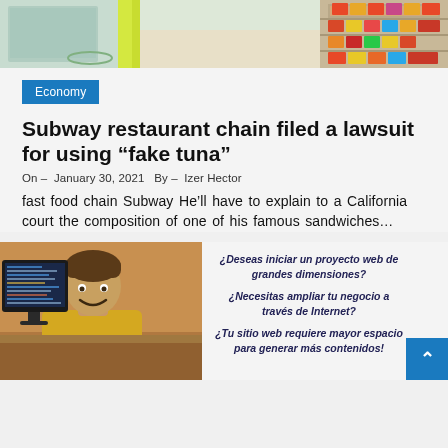[Figure (photo): Top portion of a Subway restaurant interior showing refrigerators, green/yellow decor, and snack shelves]
Economy
Subway restaurant chain filed a lawsuit for using “fake tuna”
On –  January 30, 2021   By –  Izer Hector
fast food chain Subway He’ll have to explain to a California court the composition of one of his famous sandwiches…
[Figure (photo): Man sitting at a computer desk, smiling, with a monitor displaying code or data]
¿Deseas iniciar un proyecto web de grandes dimensiones?
¿Necesitas ampliar tu negocio a través de Internet?
¿Tu sitio web requiere mayor espacio para generar más contenidos!